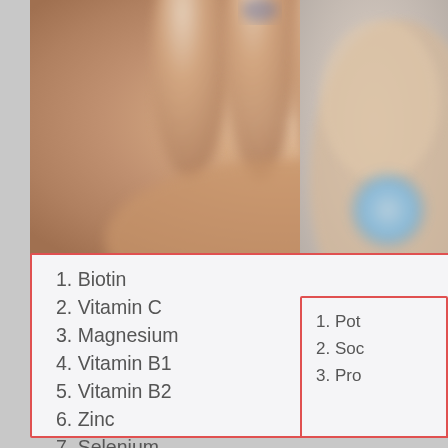[Figure (photo): Close-up blurred photo of a hand/fingers with skin tones, beige and peach colors]
[Figure (photo): Partial blurred photo on the right side showing skin tones with a blue circular element visible]
1. Biotin
2. Vitamin C
3. Magnesium
4. Vitamin B1
5. Vitamin B2
6. Zinc
7. Selenium
8. Vitamin B6
9. Vitamin E
10. Folic Acid
1. Pot
2. Soc
3. Pro